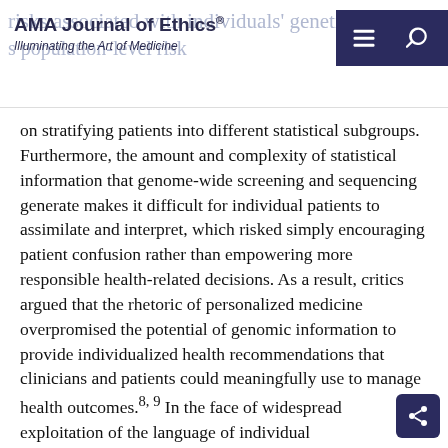AMA Journal of Ethics® — Illuminating the Art of Medicine
on stratifying patients into different statistical subgroups. Furthermore, the amount and complexity of statistical information that genome-wide screening and sequencing generate makes it difficult for individual patients to assimilate and interpret, which risked simply encouraging patient confusion rather than empowering more responsible health-related decisions. As a result, critics argued that the rhetoric of personalized medicine overpromised the potential of genomic information to provide individualized health recommendations that clinicians and patients could meaningfully use to manage health outcomes.8, 9 In the face of widespread exploitation of the language of individual